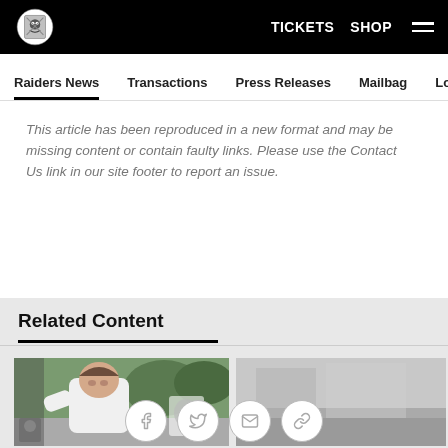Raiders – TICKETS  SHOP
Raiders News  Transactions  Press Releases  Mailbag  Longform
This article has been reproduced in a new format and may be missing content or contain faulty links. Please use the Contact Us link in our site footer to report an issue.
Related Content
[Figure (photo): Football player in white shirt, outdoors near trees and Raiders logo backdrop]
[Figure (photo): Partial photo of second related content item]